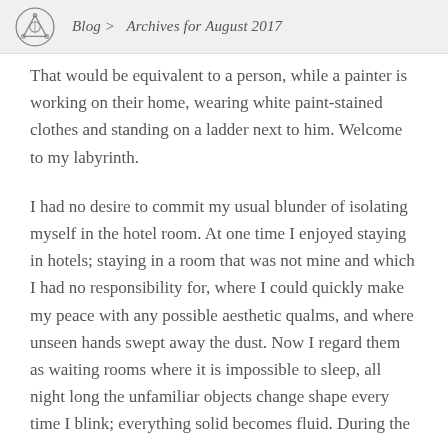Blog > Archives for August 2017
That would be equivalent to a person, while a painter is working on their home, wearing white paint-stained clothes and standing on a ladder next to him. Welcome to my labyrinth.
I had no desire to commit my usual blunder of isolating myself in the hotel room. At one time I enjoyed staying in hotels; staying in a room that was not mine and which I had no responsibility for, where I could quickly make my peace with any possible aesthetic qualms, and where unseen hands swept away the dust. Now I regard them as waiting rooms where it is impossible to sleep, all night long the unfamiliar objects change shape every time I blink; everything solid becomes fluid. During the